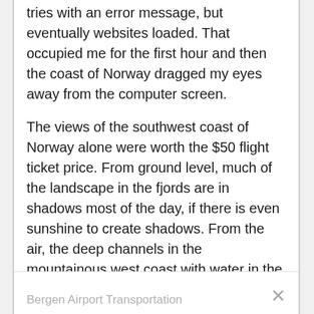tries with an error message, but eventually websites loaded. That occupied me for the first hour and then the coast of Norway dragged my eyes away from the computer screen.
The views of the southwest coast of Norway alone were worth the $50 flight ticket price. From ground level, much of the landscape in the fjords are in shadows most of the day, if there is even sunshine to create shadows. From the air, the deep channels in the mountainous west coast with water in the fjords reaching dozens of miles from the open sea to the interior are a sight most people don't get a chance to see. The coast is usually covered in clouds.
Bergen Airport Transportation